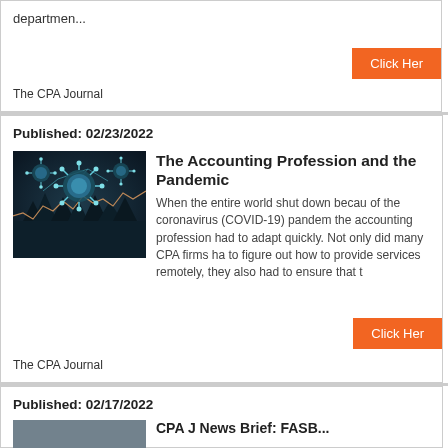departmen...
Click Her
The CPA Journal
Published: 02/23/2022
[Figure (illustration): Coronavirus/COVID-19 virus particles illustrated against a dark blue background with network lines and a stock chart overlay]
The Accounting Profession and the Pandemic
When the entire world shut down becau of the coronavirus (COVID-19) pandem the accounting profession had to adapt quickly. Not only did many CPA firms ha to figure out how to provide services remotely, they also had to ensure that t
Click Her
The CPA Journal
Published: 02/17/2022
CPA J News Brief: FASB...